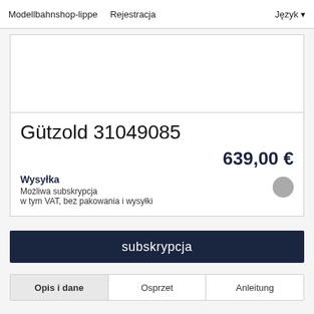Modellbahnshop-lippe  Rejestracja  Język
[Figure (photo): Product image placeholder (empty white box)]
Gützold 31049085
639,00 €
Wysyłka
Możliwa subskrypcja
w tym VAT, bez pakowania i wysyłki
subskrypcja
Opis i dane   Osprzet   Anleitung